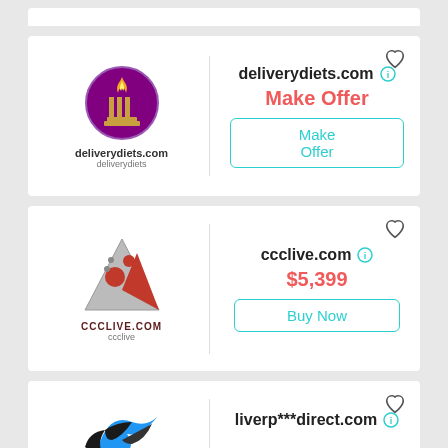[Figure (logo): deliverydiets.com logo: purple circle with torch/flame icon, text 'deliverydiets.com' and 'deliverydiets' below]
deliverydiets.com
Make Offer
Make Offer (button)
[Figure (logo): ccclive.com logo: grey/red triangle shape with circles, text 'CCCLIVE.COM' and 'ccclive' below]
ccclive.com
$5,399
Buy Now (button)
[Figure (logo): liverp***direct.com logo: blue/black bird/wing design]
liverp***direct.com